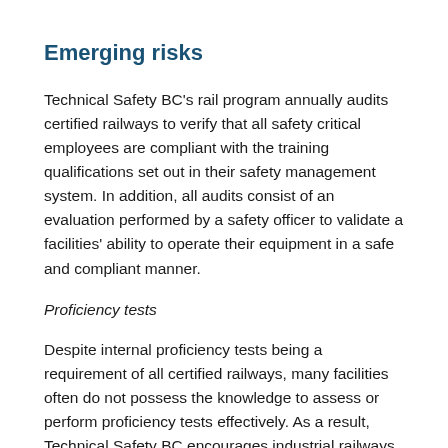Emerging risks
Technical Safety BC’s rail program annually audits certified railways to verify that all safety critical employees are compliant with the training qualifications set out in their safety management system. In addition, all audits consist of an evaluation performed by a safety officer to validate a facilities’ ability to operate their equipment in a safe and compliant manner.
Proficiency tests
Despite internal proficiency tests being a requirement of all certified railways, many facilities often do not possess the knowledge to assess or perform proficiency tests effectively. As a result, Technical Safety BC encourages industrial railways to leverage professional third-party